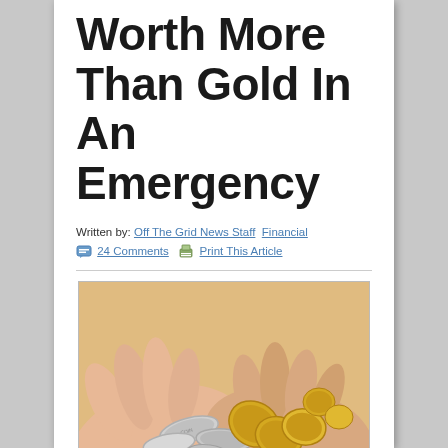Worth More Than Gold In An Emergency
Written by: Off The Grid News Staff   Financial
💬 24 Comments 🖨 Print This Article
[Figure (photo): Two hands cupped together holding a collection of gold and silver coins of various sizes on a light orange/cream background.]
The pitchmen filling the TV airwaves with